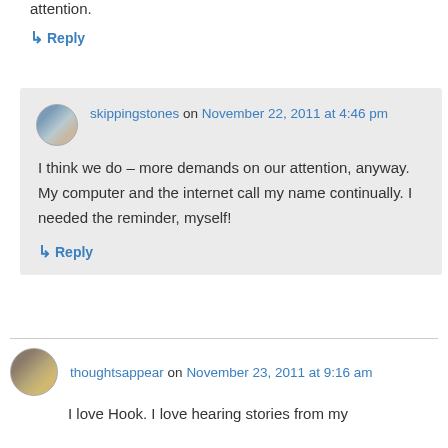attention.
↳ Reply
skippingstones on November 22, 2011 at 4:46 pm
I think we do – more demands on our attention, anyway. My computer and the internet call my name continually. I needed the reminder, myself!
↳ Reply
thoughtsappear on November 23, 2011 at 9:16 am
I love Hook. I love hearing stories from my